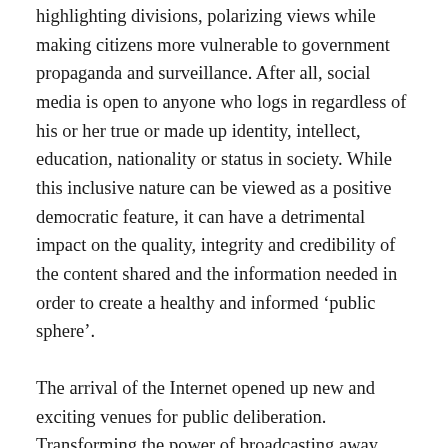highlighting divisions, polarizing views while making citizens more vulnerable to government propaganda and surveillance. After all, social media is open to anyone who logs in regardless of his or her true or made up identity, intellect, education, nationality or status in society. While this inclusive nature can be viewed as a positive democratic feature, it can have a detrimental impact on the quality, integrity and credibility of the content shared and the information needed in order to create a healthy and informed ‘public sphere’.
The arrival of the Internet opened up new and exciting venues for public deliberation. Transforming the power of broadcasting away from the centralized structure of traditional media to the decentralized nature of the Internet. This has been hailed as ‘the second media age’ (Poster1995). Many sources can now broadcast to many